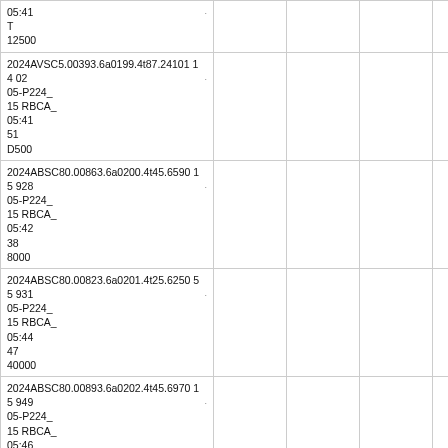| 05:41
T
12500 |  |  |  |  |
| 2024AVSC5.00393.6a0199.4t87.24101 14 02
05-P224_
15 RBCA_
05:41
51
D500 |  |  |  |  |
| 2024ABSC80.00863.6a0200.4t45.6590 15 928
05-P224_
15 RBCA_
05:42
38
8000 |  |  |  |  |
| 2024ABSC80.00823.6a0201.4t25.6250 55 931
05-P224_
15 RBCA_
05:44
47
40000 |  |  |  |  |
| 2024ABSC80.00893.6a0202.4t45.6970 15 949
05-P224_
15 RBCA_
05:46
24
0000 |  |  |  |  |
| 2024AVSC45.00893.5a0203.4t85.02904 9 925
05-P224_
15 RBCA_
05:48
09
D000 |  |  |  |  |